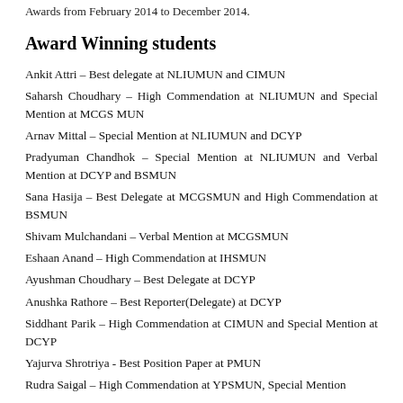Awards from February 2014 to December 2014.
Award Winning students
Ankit Attri – Best delegate at NLIUMUN and CIMUN
Saharsh Choudhary – High Commendation at NLIUMUN and Special Mention at MCGS MUN
Arnav Mittal – Special Mention at NLIUMUN and DCYP
Pradyuman Chandhok – Special Mention at NLIUMUN and Verbal Mention at DCYP and BSMUN
Sana Hasija – Best Delegate at MCGSMUN and High Commendation at BSMUN
Shivam Mulchandani – Verbal Mention at MCGSMUN
Eshaan Anand – High Commendation at IHSMUN
Ayushman Choudhary – Best Delegate at DCYP
Anushka Rathore – Best Reporter(Delegate) at DCYP
Siddhant Parik – High Commendation at CIMUN and Special Mention at DCYP
Yajurva Shrotriya - Best Position Paper at PMUN
Rudra Saigal – High Commendation at YPSMUN, Special Mention